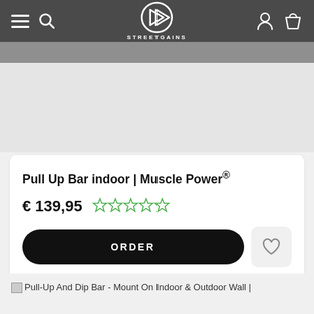STREETGAINS
[Figure (photo): Product image area - partially visible, gray placeholder]
Pull Up Bar indoor | Muscle Power®
€ 139,95
[Figure (other): Five empty green star rating icons]
ORDER
[Figure (other): Heart/wishlist icon button]
Pull-Up And Dip Bar - Mount On Indoor & Outdoor Wall |